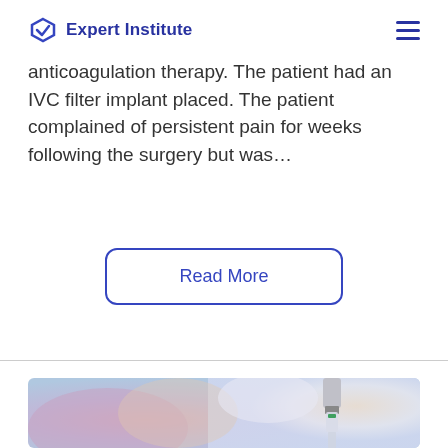Expert Institute
anticoagulation therapy. The patient had an IVC filter implant placed. The patient complained of persistent pain for weeks following the surgery but was…
Read More
[Figure (photo): Close-up photo of a medical syringe/vial with a green cap, blurred colorful medical background with purple and orange tones]